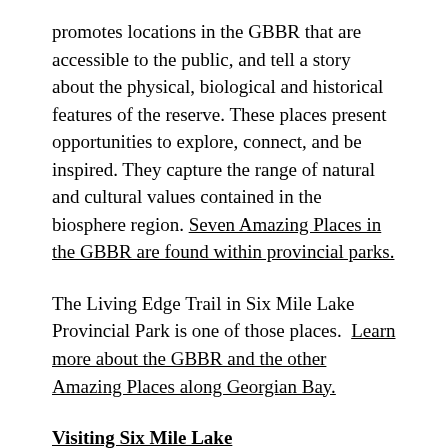promotes locations in the GBBR that are accessible to the public, and tell a story about the physical, biological and historical features of the reserve. These places present opportunities to explore, connect, and be inspired. They capture the range of natural and cultural values contained in the biosphere region. Seven Amazing Places in the GBBR are found within provincial parks.
The Living Edge Trail in Six Mile Lake Provincial Park is one of those places.  Learn more about the GBBR and the other Amazing Places along Georgian Bay.
Visiting Six Mile Lake
Located on the shores of scenic Six Mile Lake, the park is only a couple of hours north of the GTA, and